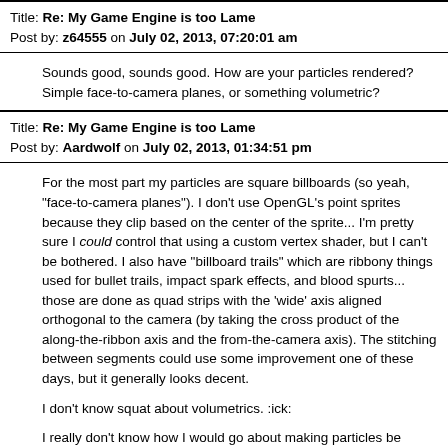Title: Re: My Game Engine is too Lame
Post by: z64555 on July 02, 2013, 07:20:01 am
Sounds good, sounds good. How are your particles rendered? Simple face-to-camera planes, or something volumetric?
Title: Re: My Game Engine is too Lame
Post by: Aardwolf on July 02, 2013, 01:34:51 pm
For the most part my particles are square billboards (so yeah, "face-to-camera planes"). I don't use OpenGL's point sprites because they clip based on the center of the sprite... I'm pretty sure I could control that using a custom vertex shader, but I can't be bothered. I also have "billboard trails" which are ribbony things used for bullet trails, impact spark effects, and blood spurts... those are done as quad strips with the 'wide' axis aligned orthogonal to the camera (by taking the cross product of the along-the-ribbon axis and the from-the-camera axis). The stitching between segments could use some improvement one of these days, but it generally looks decent.
I don't know squat about volumetrics. :ick:
I really don't know how I would go about making particles be affected by lighting. The big reason I want this is because when a particle is in an area that should be shadowed, it currently shows up with full brightness, and that's not very good. The thing is, I'm doing deferred lighting (or shading? not